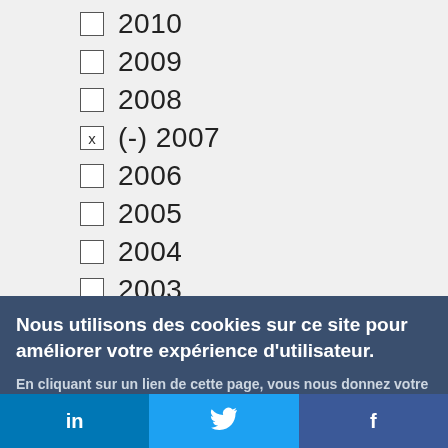2010
2009
2008
(-) 2007
2006
2005
2004
2003
2002
Nous utilisons des cookies sur ce site pour améliorer votre expérience d'utilisateur.
En cliquant sur un lien de cette page, vous nous donnez votre consentement de définir des cookies.
Oui, je suis d'accord
Plus d'infos
in  f